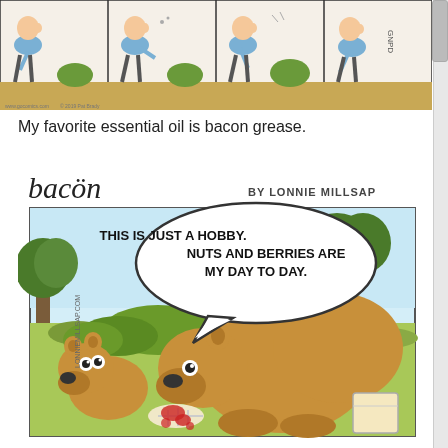[Figure (illustration): A four-panel comic strip at the top of the page showing a man interacting with something small outdoors, rendered in cartoon style.]
My favorite essential oil is bacon grease.
[Figure (illustration): A comic strip titled 'bacön' by Lonnie Millsap. Shows two cartoon bears in a forest setting. A large bear with a speech bubble saying 'THIS IS JUST A HOBBY. NUTS AND BERRIES ARE MY DAY TO DAY.' is eating something messy (appears to be meat/bacon from a bag) while a smaller bear watches. Trees are visible in the background. Website lonniemillsap.com shown on left side.]